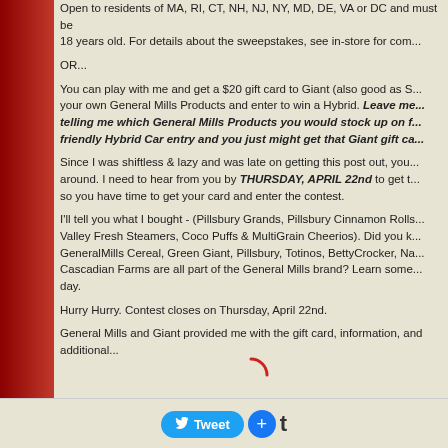Open to residents of MA, RI, CT, NH, NJ, NY, MD, DE, VA or DC and must be 18 years old. For details about the sweepstakes, see in-store for com...
OR...
You can play with me and get a $20 gift card to Giant (also good as S... your own General Mills Products and enter to win a Hybrid. Leave me... telling me which General Mills Products you would stock up on f... friendly Hybrid Car entry and you just might get that Giant gift ca...
Since I was shiftless & lazy and was late on getting this post out, you... around. I need to hear from you by THURSDAY, APRIL 22nd to get t... so you have time to get your card and enter the contest.
I'll tell you what I bought - (Pillsbury Grands, Pillsbury Cinnamon Rolls... Valley Fresh Steamers, Coco Puffs & MultiGrain Cheerios). Did you k... GeneralMills Cereal, Green Giant, Pillsbury, Totinos, BettyCrocker, Na... Cascadian Farms are all part of the General Mills brand? Learn some... day.
Hurry Hurry. Contest closes on Thursday, April 22nd.
General Mills and Giant provided me with the gift card, information, and additional...
[Figure (other): Partial loading circle icon in red]
Tweet + t